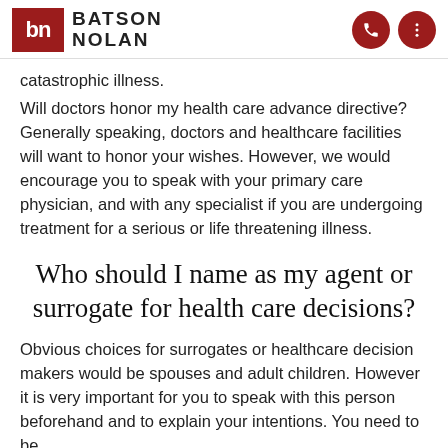BATSON NOLAN
catastrophic illness.
Will doctors honor my health care advance directive? Generally speaking, doctors and healthcare facilities will want to honor your wishes. However, we would encourage you to speak with your primary care physician, and with any specialist if you are undergoing treatment for a serious or life threatening illness.
Who should I name as my agent or surrogate for health care decisions?
Obvious choices for surrogates or healthcare decision makers would be spouses and adult children. However it is very important for you to speak with this person beforehand and to explain your intentions. You need to be